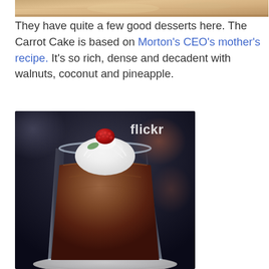[Figure (photo): Partial top view of a dessert (carrot cake) on a plate, cropped at top of page]
They have quite a few good desserts here. The Carrot Cake is based on Morton's CEO's mother's recipe. It's so rich, dense and decadent with walnuts, coconut and pineapple.
[Figure (photo): Chocolate mousse dessert in a clear martini-style glass topped with whipped cream and a raspberry, with a flickr watermark in white text in the upper right of the image]